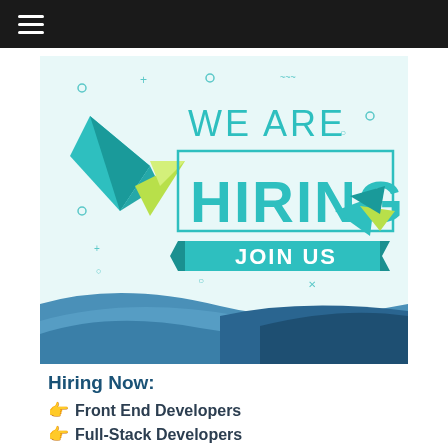☰ (hamburger menu)
[Figure (illustration): We Are Hiring - Join Us recruitment poster with teal and green geometric paper plane designs, bold teal HIRING text, JOIN US banner, decorative geometric shapes, and diagonal wave design in blue at bottom.]
Hiring Now:
Front End Developers
Full-Stack Developers